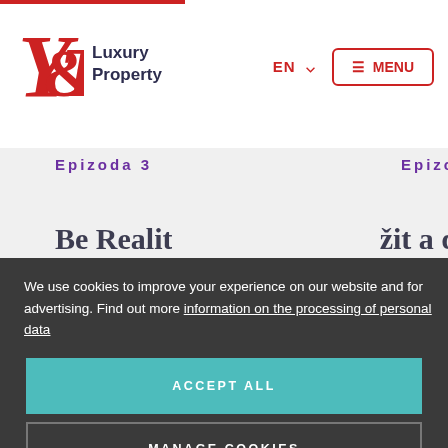[Figure (logo): Y&T Luxury Property logo with red ampersand symbol and dark text]
EN ˅
≡ MENU
Epizoda 3
Epizo
We use cookies to improve your experience on our website and for advertising. Find out more information on the processing of personal data
ACCEPT ALL
MANAGE COOKIES